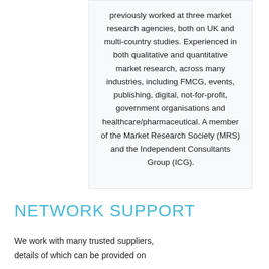previously worked at three market research agencies, both on UK and multi-country studies. Experienced in both qualitative and quantitative market research, across many industries, including FMCG, events, publishing, digital, not-for-profit, government organisations and healthcare/pharmaceutical. A member of the Market Research Society (MRS) and the Independent Consultants Group (ICG).
NETWORK SUPPORT
We work with many trusted suppliers, details of which can be provided on